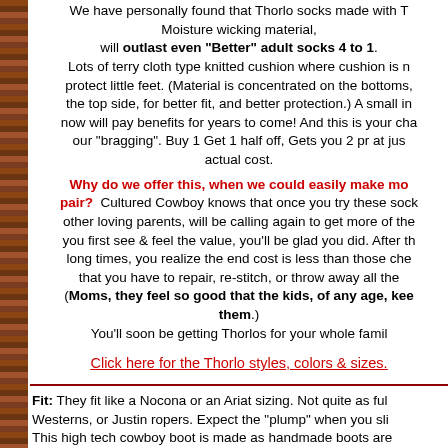We have personally found that Thorlo socks made with Thorlon Moisture wicking material, will outlast even "Better" adult socks 4 to 1. Lots of terry cloth type knitted cushion where cushion is needed, to protect little feet. (Material is concentrated on the bottoms, not the top side, for better fit, and better protection.) A small investment now will pay benefits for years to come! And this is your chance to prove our "bragging". Buy 1 Get 1 half off, Gets you 2 pr at just a bit over our actual cost.
Why do we offer this, when we could easily make more per pair? Cultured Cowboy knows that once you try these socks, you, like other loving parents, will be calling again to get more of them. When you first see & feel the value, you'll be glad you did. After they last long times, you realize the end cost is less than those cheap ones that you have to repair, re-stitch, or throw away all the time. (Moms, they feel so good that the kids, of any age, keep wanting them.) You'll soon be getting Thorlos for your whole family!
Click here for the Thorlo styles, colors & sizes.
Fit: They fit like a Nocona or an Ariat sizing. Not quite as full as Westerns, or Justin ropers. Expect the "plump" when you slip them on. This high tech cowboy boot is made as handmade boots are